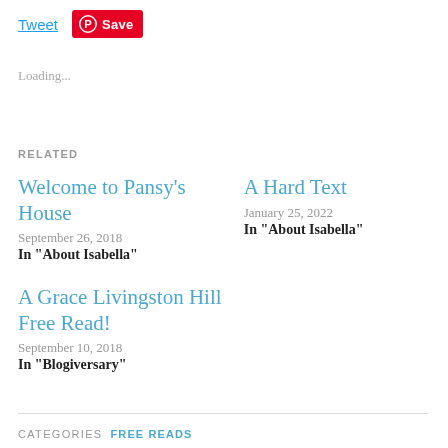Tweet  Save
Loading...
RELATED
Welcome to Pansy's House
September 26, 2018
In "About Isabella"
A Hard Text
January 25, 2022
In "About Isabella"
A Grace Livingston Hill Free Read!
September 10, 2018
In "Blogiversary"
CATEGORIES  FREE READS